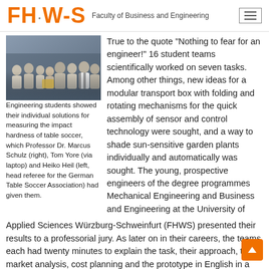FHW-S Faculty of Business and Engineering
[Figure (photo): Group photo of engineering students and professors standing together in a classroom or lab setting]
Engineering students showed their individual solutions for measuring the impact hardness of table soccer, which Professor Dr. Marcus Schulz (right), Tom Yore (via laptop) and Heiko Heil (left, head referee for the German Table Soccer Association) had given them.
True to the quote "Nothing to fear for an engineer!" 16 student teams scientifically worked on seven tasks. Among other things, new ideas for a modular transport box with folding and rotating mechanisms for the quick assembly of sensor and control technology were sought, and a way to shade sun-sensitive garden plants individually and automatically was sought. The young, prospective engineers of the degree programmes Mechanical Engineering and Business and Engineering at the University of Applied Sciences Würzburg-Schweinfurt (FHWS) presented their results to a professorial jury. As later on in their careers, the teams each had twenty minutes to explain the task, their approach, the market analysis, cost planning and the prototype in English in a multimedia format, and then to ask